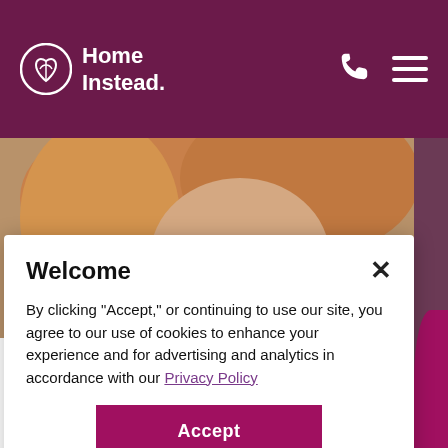Home Instead.
[Figure (photo): Close-up photo of an elderly woman with glasses and reddish-blonde hair, viewed from the side/slightly above]
Welcome
By clicking "Accept," or continuing to use our site, you agree to our use of cookies to enhance your experience and for advertising and analytics in accordance with our Privacy Policy
Accept
Cookie Settings